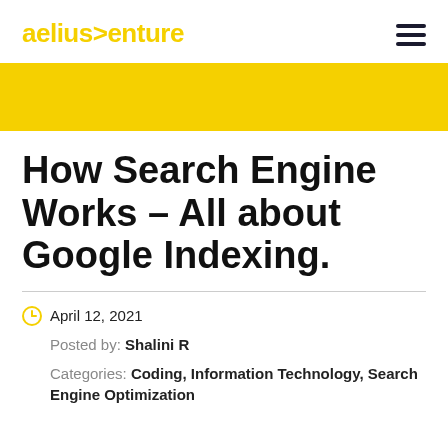aelius>enture
How Search Engine Works – All about Google Indexing.
April 12, 2021
Posted by: Shalini R
Categories: Coding, Information Technology, Search Engine Optimization